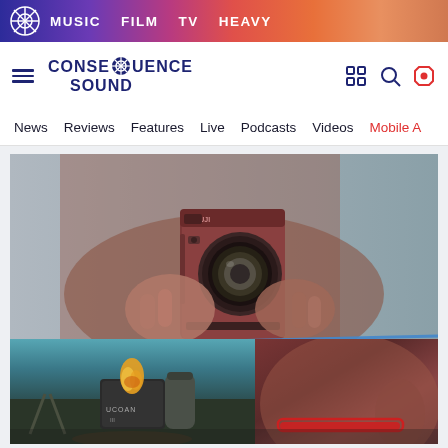MUSIC  FILM  TV  HEAVY
[Figure (logo): Consequence Sound website logo with gear icon]
News  Reviews  Features  Live  Podcasts  Videos  Mobile A
[Figure (photo): Composite image: top half shows a person holding an instax/polaroid camera up to a mirror taking a selfie with reddish-brown tones; bottom left shows a camping stove/lantern with flame on a folding table outdoors; bottom right shows a close-up of a person's ear with red sunglasses]